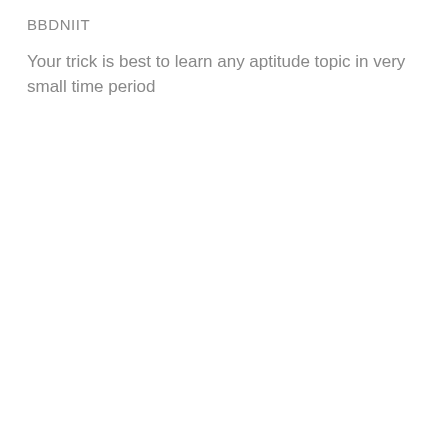BBDNIIT
Your trick is best to learn any aptitude topic in very small time period